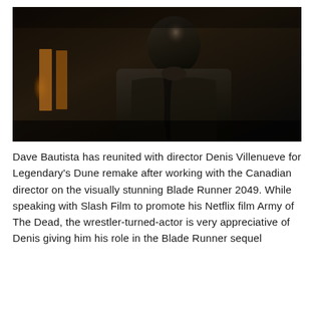[Figure (photo): A dark, moody dramatic photograph of a bald man (Dave Bautista) in a dark zippered jacket, standing in a dimly lit industrial or indoor setting. The lighting is high-contrast with warm amber light visible in the background behind him.]
Dave Bautista has reunited with director Denis Villenueve for Legendary's Dune remake after working with the Canadian director on the visually stunning Blade Runner 2049. While speaking with Slash Film to promote his Netflix film Army of The Dead, the wrestler-turned-actor is very appreciative of Denis giving him his role in the Blade Runner sequel